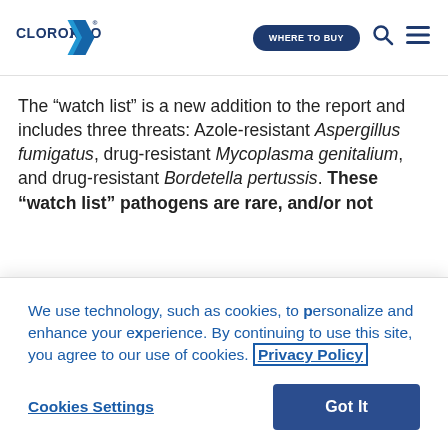CLOROXPRO | WHERE TO BUY
The “watch list” is a new addition to the report and includes three threats: Azole-resistant Aspergillus fumigatus, drug-resistant Mycoplasma genitalium, and drug-resistant Bordetella pertussis. These “watch list” pathogens are rare, and/or not
We use technology, such as cookies, to personalize and enhance your experience. By continuing to use this site, you agree to our use of cookies. Privacy Policy
Cookies Settings | Got It